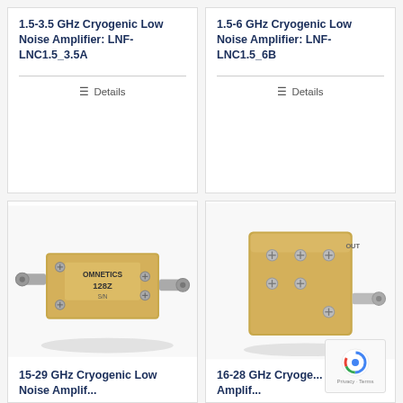1.5-3.5 GHz Cryogenic Low Noise Amplifier: LNF-LNC1.5_3.5A
Details
1.5-6 GHz Cryogenic Low Noise Amplifier: LNF-LNC1.5_6B
Details
[Figure (photo): Gold-plated cryogenic low noise amplifier module labeled 128Z with SMA connectors, manufactured by Omnetics]
[Figure (photo): Gold-plated cryogenic low noise amplifier cube with multiple screws and SMA connector on the side]
15-29 GHz Cryogenic Low Noise Amplif...
16-28 GHz Cryoge... Low Noise Amplif...